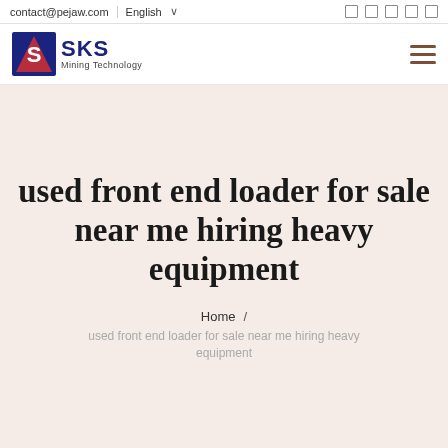contact@pejaw.com  English  [icons]
[Figure (logo): SKS Mining Technology logo with stylized S icon in red and blue]
used front end loader for sale near me hiring heavy equipment
Home / used front end loader for sale near me hiring heavy equipment